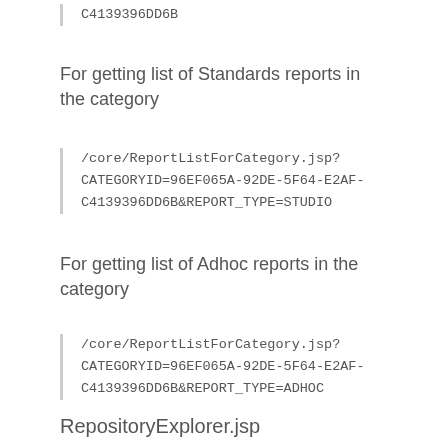C4139396DD6B
For getting list of Standards reports in the category
/core/ReportListForCategory.jsp?CATEGORYID=96EF065A-92DE-5F64-E2AF-C4139396DD6B&REPORT_TYPE=STUDIO
For getting list of Adhoc reports in the category
/core/ReportListForCategory.jsp?CATEGORYID=96EF065A-92DE-5F64-E2AF-C4139396DD6B&REPORT_TYPE=ADHOC
RepositoryExplorer.jsp